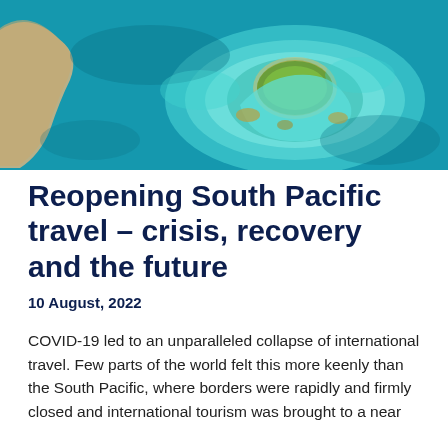[Figure (photo): Aerial photograph of a coral reef and small island in turquoise South Pacific ocean waters, with sandy beaches and reef formations visible from above.]
Reopening South Pacific travel – crisis, recovery and the future
10 August, 2022
COVID-19 led to an unparalleled collapse of international travel. Few parts of the world felt this more keenly than the South Pacific, where borders were rapidly and firmly closed and international tourism was brought to a near